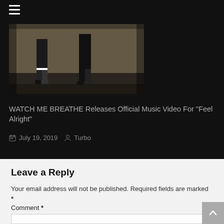[Figure (photo): Photo of two people standing against a brick wall, showing their lower bodies and feet]
WATCH ME BREATHE Releases Official Music Video For "Feel Alright"
July 19, 2019   Turbo
Leave a Reply
Your email address will not be published. Required fields are marked *
Comment *